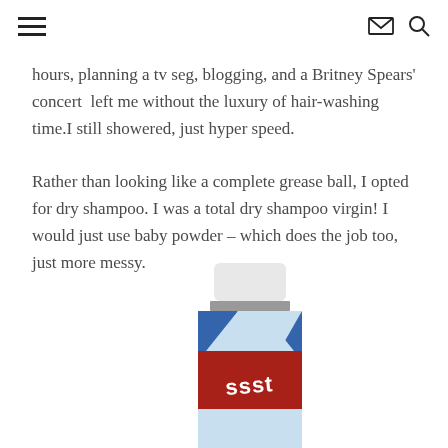≡  ✉ 🔍
hours, planning a tv seg, blogging, and a Britney Spears' concert left me without the luxury of hair-washing time.I still showered, just hyper speed.

Rather than looking like a complete grease ball, I opted for dry shampoo. I was a total dry shampoo virgin! I would just use baby powder – which does the job too, just more messy.
[Figure (photo): A can of dry shampoo (appears to be Psssst brand) with a white cap, grey band, and blue and red striped body, partially cropped at the bottom of the page.]